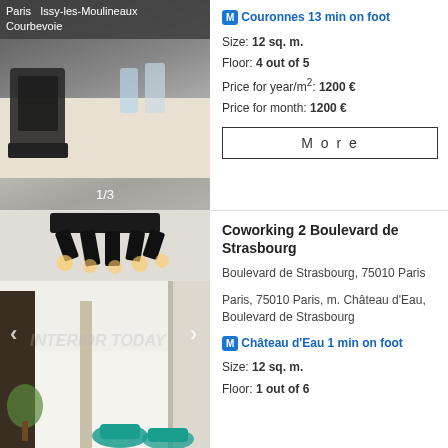Paris  Issy-les-Moulineaux  Courbevoie
M Couronnes 13 min on foot
[Figure (photo): Interior photo of a dining/office area, photo counter 1/3]
Size: 12 sq. m.
Floor: 4 out of 5
Price for year/m²: 1200 €
Price for month: 1200 €
More
Coworking 2 Boulevard de Strasbourg
Boulevard de Strasbourg, 75010 Paris
Paris, 75010 Paris, m. Château d'Eau, Boulevard de Strasbourg
M Château d'Eau 1 min on foot
[Figure (photo): Interior photo of a modern coworking space with plants and teal chairs]
Size: 12 sq. m.
Floor: 1 out of 6